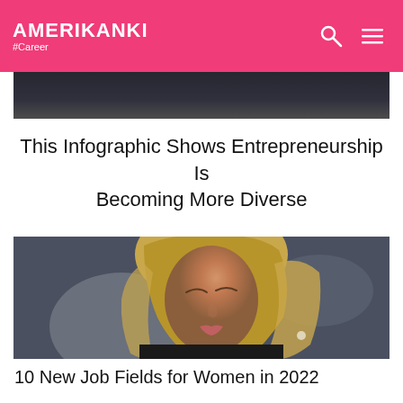AMERIKANKI #Career
[Figure (photo): Dark toned partial photo strip at top of page, appears to be a dark indoor scene]
This Infographic Shows Entrepreneurship Is Becoming More Diverse
[Figure (photo): Portrait photo of a young blonde woman with eyes closed, looking downward, wearing dark clothing, with a blurred background]
10 New Job Fields for Women in 2022